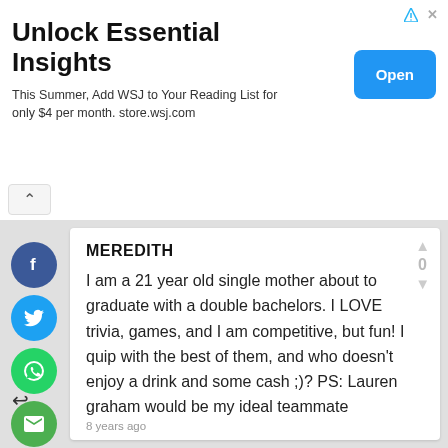[Figure (screenshot): Advertisement banner for WSJ (Wall Street Journal) with title 'Unlock Essential Insights', subtitle text, and blue Open button]
Unlock Essential Insights
This Summer, Add WSJ to Your Reading List for only $4 per month. store.wsj.com
MEREDITH
I am a 21 year old single mother about to graduate with a double bachelors. I LOVE trivia, games, and I am competitive, but fun! I quip with the best of them, and who doesn't enjoy a drink and some cash ;)? PS: Lauren graham would be my ideal teammate
8 years ago